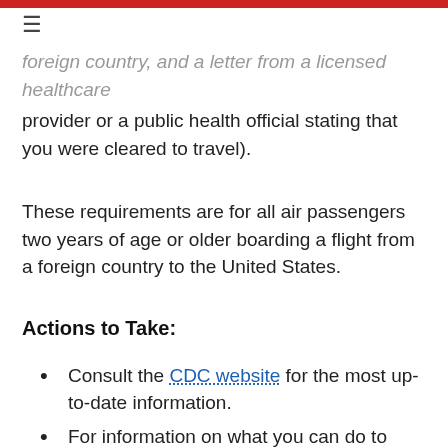≡
foreign country, and a letter from a licensed healthcare provider or a public health official stating that you were cleared to travel).
These requirements are for all air passengers two years of age or older boarding a flight from a foreign country to the United States.
Actions to Take:
Consult the CDC website for the most up-to-date information.
For information on what you can do to reduce your risk of contracting COVID-19, please see the CDC's latest recommendations.
Visit the COVID-19 crisis page on travel.state.gov for